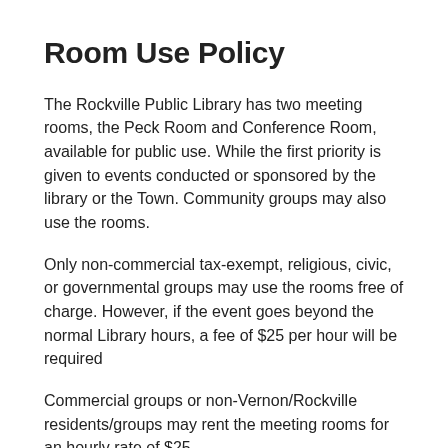Room Use Policy
The Rockville Public Library has two meeting rooms, the Peck Room and Conference Room, available for public use. While the first priority is given to events conducted or sponsored by the library or the Town. Community groups may also use the rooms.
Only non-commercial tax-exempt, religious, civic, or governmental groups may use the rooms free of charge. However, if the event goes beyond the normal Library hours, a fee of $25 per hour will be required
Commercial groups or non-Vernon/Rockville residents/groups may rent the meeting rooms for an hourly rate of $25.